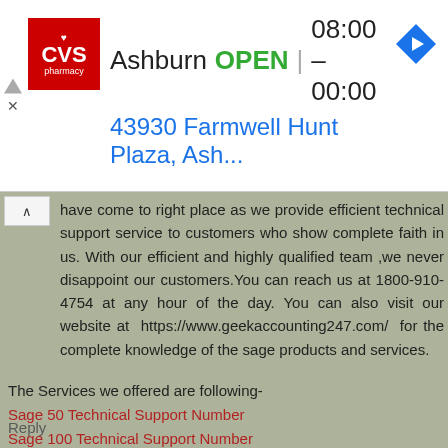[Figure (screenshot): CVS Pharmacy ad banner showing Ashburn location, OPEN status, hours 08:00-00:00, address 43930 Farmwell Hunt Plaza, Ash..., with navigation arrow icon]
have come to right place as we provide efficient technical support service to customers who show complete faith in us. With our efficient and highly qualified team ,we never disappoint our customers.You can reach us at 1800-910-4754 at any hour of the day. You can also visit our website at https://www.geekaccounting247.com/ for the complete knowledge of the sage products and services.
The Services we offered are following-
Sage 50 Technical Support Number
Sage 100 Technical Support Number
Sage 50 live chat
Sage 50 Technical Support phone Number
Sage 50 customer service number
Sage 50 payroll support number
Reply